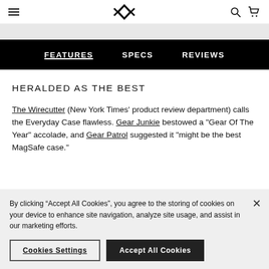Navigation bar with hamburger menu, Peak Design logo, search and cart icons
FEATURES   SPECS   REVIEWS
HERALDED AS THE BEST
The Wirecutter (New York Times' product review department) calls the Everyday Case flawless. Gear Junkie bestowed a "Gear Of The Year" accolade, and Gear Patrol suggested it "might be the best MagSafe case."
By clicking “Accept All Cookies”, you agree to the storing of cookies on your device to enhance site navigation, analyze site usage, and assist in our marketing efforts.
Cookies Settings   Accept All Cookies